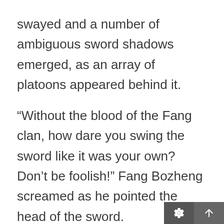swayed and a number of ambiguous sword shadows emerged, as an array of platoons appeared behind it.
“Without the blood of the Fang clan, how dare you swing the sword like it was your own? Don’t be foolish!” Fang Bozheng screamed as he pointed the head of the sword.
“Thousand Shadows Swordsmanship! This is the real leader of our clan!”
“This man must be the real Jin Wugui then? But